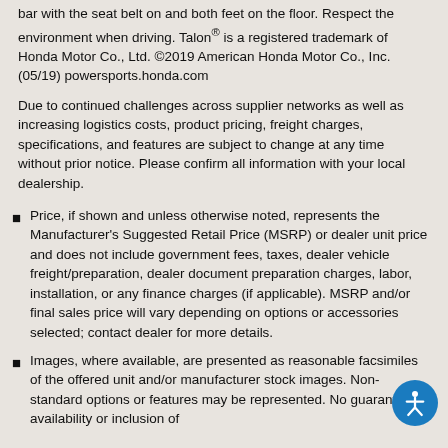bar with the seat belt on and both feet on the floor. Respect the environment when driving. Talon® is a registered trademark of Honda Motor Co., Ltd. ©2019 American Honda Motor Co., Inc. (05/19) powersports.honda.com
Due to continued challenges across supplier networks as well as increasing logistics costs, product pricing, freight charges, specifications, and features are subject to change at any time without prior notice. Please confirm all information with your local dealership.
Price, if shown and unless otherwise noted, represents the Manufacturer's Suggested Retail Price (MSRP) or dealer unit price and does not include government fees, taxes, dealer vehicle freight/preparation, dealer document preparation charges, labor, installation, or any finance charges (if applicable). MSRP and/or final sales price will vary depending on options or accessories selected; contact dealer for more details.
Images, where available, are presented as reasonable facsimiles of the offered unit and/or manufacturer stock images. Non-standard options or features may be represented. No guarantee of availability or inclusion of